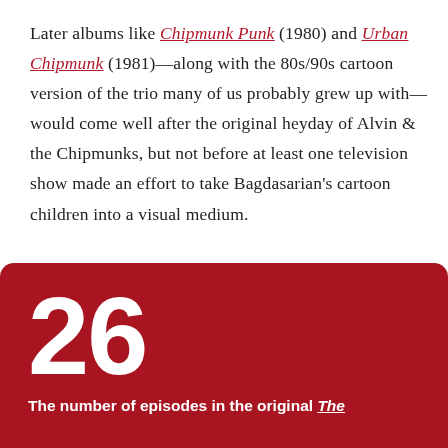Later albums like Chipmunk Punk (1980) and Urban Chipmunk (1981)—along with the 80s/90s cartoon version of the trio many of us probably grew up with—would come well after the original heyday of Alvin & the Chipmunks, but not before at least one television show made an effort to take Bagdasarian's cartoon children into a visual medium.
26
The number of episodes in the original The